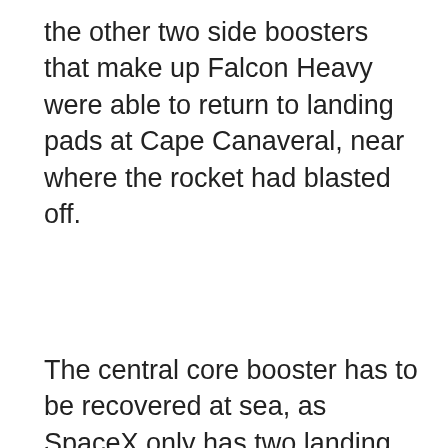the other two side boosters that make up Falcon Heavy were able to return to landing pads at Cape Canaveral, near where the rocket had blasted off.
The central core booster has to be recovered at sea, as SpaceX only has two landing pads on land, and a sea recovery takes less fuel than a land one.